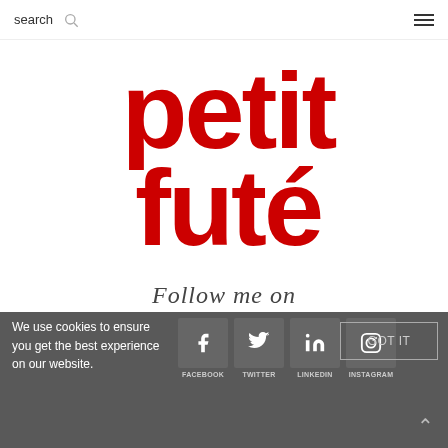search
[Figure (logo): Petit Futé logo — large red bold letters spelling 'petit futé' in two lines]
Follow me on
We use cookies to ensure you get the best experience on our website.
[Figure (infographic): Social media icons row: Facebook, Twitter, LinkedIn, Instagram with labels below]
GOT IT